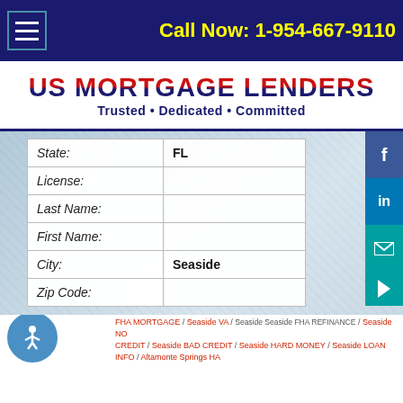Call Now: 1-954-667-9110
[Figure (logo): US Mortgage Lenders logo with tagline: Trusted • Dedicated • Committed]
| Field | Value |
| --- | --- |
| State: | FL |
| License: |  |
| Last Name: |  |
| First Name: |  |
| City: | Seaside |
| Zip Code: |  |
FHA MORTGAGE / Seaside VA / Seaside Seaside FHA REFINANCE / Seaside NO CREDIT / Seaside BAD CREDIT / Seaside HARD MONEY / Seaside LOAN INFO / Altamonte Springs HA